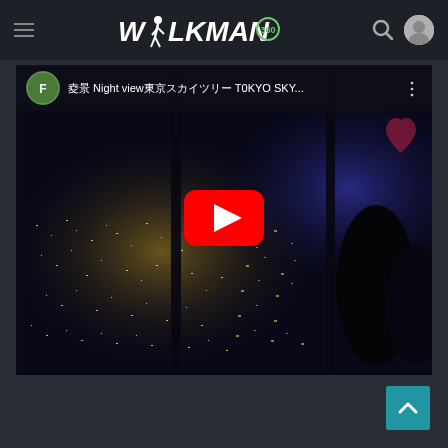WALKMAN 360 - navigation header with hamburger menu, logo, search icon, and user avatar
[Figure (screenshot): YouTube embedded video player showing Tokyo night view from Tokyo Skytree. Video title: '夜景 Night view東京スカイツリー TOKYO SKY...' with a channel avatar, three-dot menu, and a red YouTube play button centered on a dark cityscape night photo.]
[Figure (other): Teal/blue scroll-to-top button with upward chevron arrow, positioned at bottom-right corner]